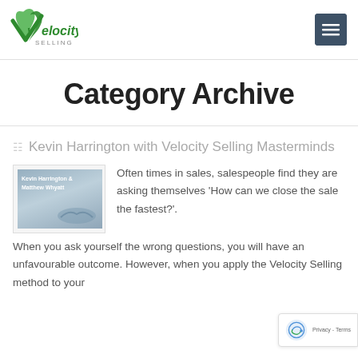[Figure (logo): Velocity Selling logo — green stylized checkmark/V shape with 'velocity' in green italic text and 'SELLING' in grey capitals below]
[Figure (other): Dark blue-grey hamburger menu button (three horizontal white lines on dark background)]
Category Archive
Kevin Harrington with Velocity Selling Masterminds
[Figure (photo): Book cover thumbnail showing 'Kevin Harrington & Matthew Whyatt' with a handshake image in blue-grey tones]
Often times in sales, salespeople find they are asking themselves 'How can we close the sale the fastest?'. When you ask yourself the wrong questions, you will have an unfavourable outcome. However, when you apply the Velocity Selling method to your